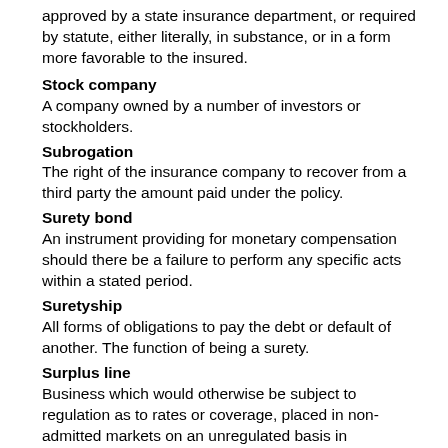approved by a state insurance department, or required by statute, either literally, in substance, or in a form more favorable to the insured.
Stock company
A company owned by a number of investors or stockholders.
Subrogation
The right of the insurance company to recover from a third party the amount paid under the policy.
Surety bond
An instrument providing for monetary compensation should there be a failure to perform any specific acts within a stated period.
Suretyship
All forms of obligations to pay the debt or default of another. The function of being a surety.
Surplus line
Business which would otherwise be subject to regulation as to rates or coverage, placed in non-admitted markets on an unregulated basis in accordance with the Surplus or Excess Line provisions of state insurance laws.
Syndicate
Group of companies or other underwriters who join together to insure or reinsure risks, which are often for large sums of money.